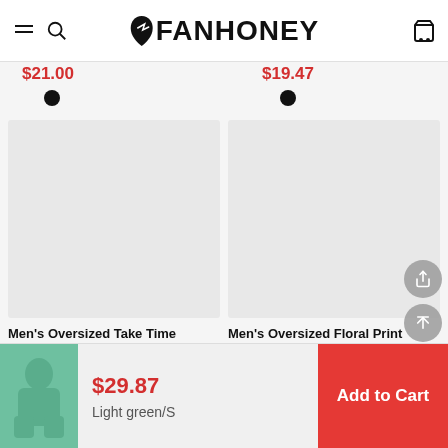FANHONEY
$21.00
$19.47
[Figure (photo): Left product card - empty/placeholder gray image for Men's Oversized Take Time product]
[Figure (photo): Right product card - empty/placeholder gray image for Men's Oversized Floral Print product]
Men's Oversized Take Time
Men's Oversized Floral Print
[Figure (photo): Thumbnail of person wearing light green outfit in bottom cart bar]
$29.87
Light green/S
Add to Cart